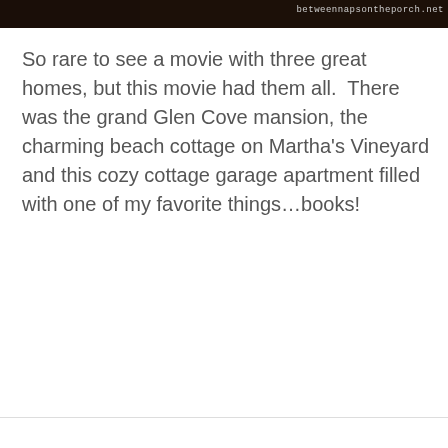[Figure (photo): Partial view of a photo at the top of the page showing an interior scene, with watermark text 'betweennapsontheporch.net' in the upper right corner.]
So rare to see a movie with three great homes, but this movie had them all.  There was the grand Glen Cove mansion, the charming beach cottage on Martha's Vineyard and this cozy cottage garage apartment filled with one of my favorite things…books!